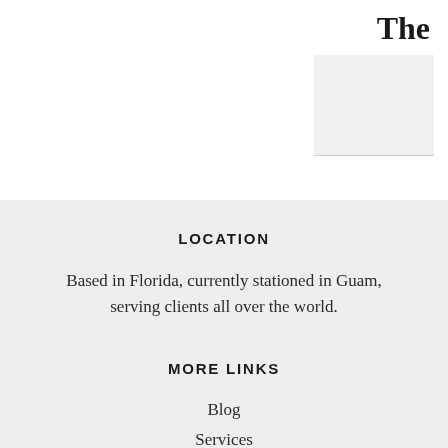The
LOCATION
Based in Florida, currently stationed in Guam, serving clients all over the world.
MORE LINKS
Blog
Services